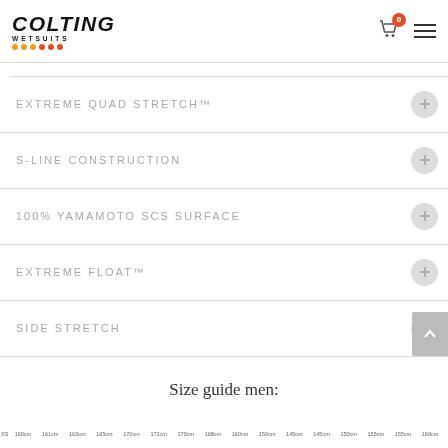COLTING WETSUITS
EXTREME QUAD STRETCH™
S-LINE CONSTRUCTION
100% YAMAMOTO SCS SURFACE
EXTREME FLOAT™
SIDE STRETCH
Size guide men:
| XS | 160cm | 161cm | 163cm | 165cm | 170cm | 172cm | 170cm | 168cm | 160cm | 150cm | 145cm | 145cm | 150cm | 155cm | 155cm | 160cm |
| --- | --- | --- | --- | --- | --- | --- | --- | --- | --- | --- | --- | --- | --- | --- | --- | --- |
|  |